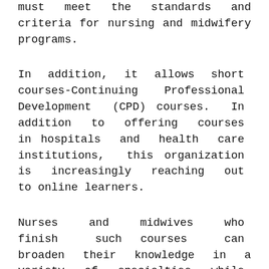must meet the standards and criteria for nursing and midwifery programs.
In addition, it allows short courses-Continuing Professional Development (CPD) courses. In addition to offering courses in hospitals and health care institutions, this organization is increasingly reaching out to online learners.
Nurses and midwives who finish such courses can broaden their knowledge in a variety of specialties while also earning Continuing Education Units (CEUs).
This organization collaborates with stakeholder organizations to ensure that